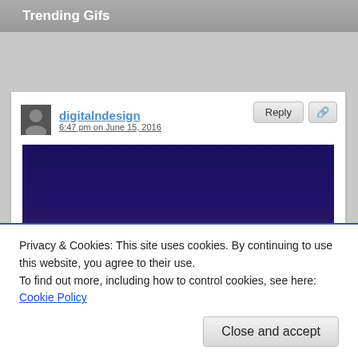Trending Gifs
digitalndesign
6:47 pm on June 15, 2016
[Figure (photo): GIF still frame showing a man wearing an N.W.A. 'Straight Outta Compton' t-shirt sitting at a late night talk show desk. Yellow text overlay reads 'BYE FELICIA'. Background shows a night cityscape set.]
New trending GIF tagged conan obrien, ice cube, nwa, straight outta compton, bye felicia via
Privacy & Cookies: This site uses cookies. By continuing to use this website, you agree to their use.
To find out more, including how to control cookies, see here: Cookie Policy
Close and accept